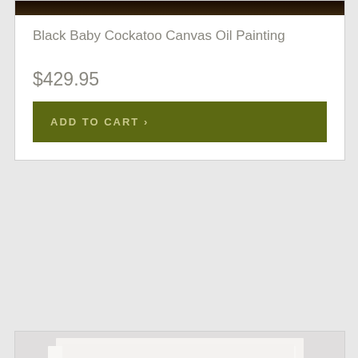[Figure (photo): Cropped top portion of a dark painting — Black Baby Cockatoo Canvas Oil Painting]
Black Baby Cockatoo Canvas Oil Painting
$429.95
ADD TO CART ›
[Figure (photo): White on white textured canvas oil painting of an elephant head with raised trunk, rendered in monochromatic white tones]